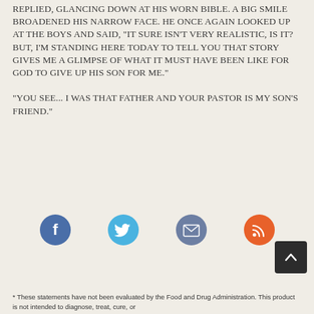REPLIED, GLANCING DOWN AT HIS WORN BIBLE. A BIG SMILE BROADENED HIS NARROW FACE. HE ONCE AGAIN LOOKED UP AT THE BOYS AND SAID, "IT SURE ISN'T VERY REALISTIC, IS IT? BUT, I'M STANDING HERE TODAY TO TELL YOU THAT STORY GIVES ME A GLIMPSE OF WHAT IT MUST HAVE BEEN LIKE FOR GOD TO GIVE UP HIS SON FOR ME."
"YOU SEE... I WAS THAT FATHER AND YOUR PASTOR IS MY SON'S FRIEND."
[Figure (infographic): Four social media share icons in a row: Facebook (dark blue circle with f), Twitter (light blue circle with bird), Email (slate blue circle with envelope), RSS (orange circle with RSS symbol)]
* These statements have not been evaluated by the Food and Drug Administration. This product is not intended to diagnose, treat, cure, or